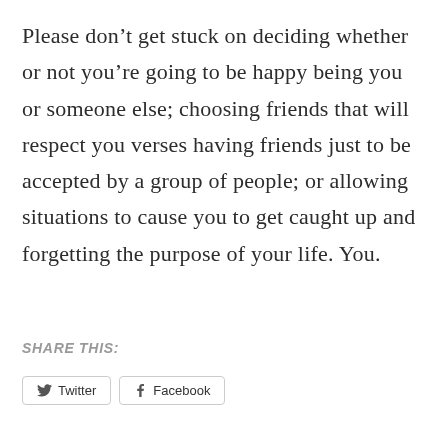Please don’t get stuck on deciding whether or not you’re going to be happy being you or someone else; choosing friends that will respect you verses having friends just to be accepted by a group of people; or allowing situations to cause you to get caught up and forgetting the purpose of your life. You.
SHARE THIS:
[Figure (other): Social share buttons: Twitter and Facebook]